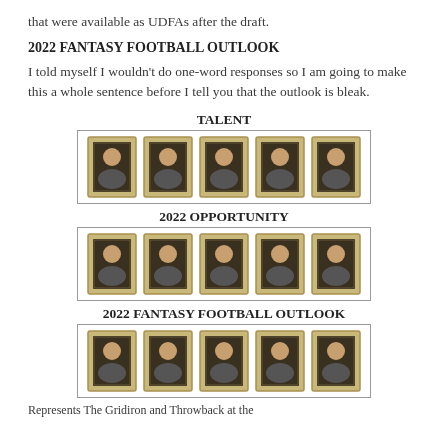that were available as UDFAs after the draft.
2022 FANTASY FOOTBALL OUTLOOK
I told myself I wouldn't do one-word responses so I am going to make this a whole sentence before I tell you that the outlook is bleak.
[Figure (infographic): Rating chart labeled TALENT showing 5 framed portrait images in a bordered row]
[Figure (infographic): Rating chart labeled 2022 OPPORTUNITY showing 5 framed portrait images in a bordered row]
[Figure (infographic): Rating chart labeled 2022 FANTASY FOOTBALL OUTLOOK showing 5 framed portrait images in a bordered row]
Represents The Gridiron and Throwback at the